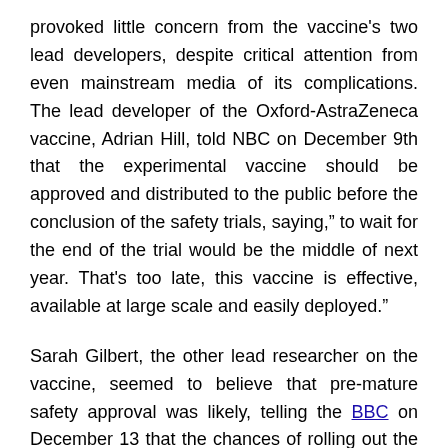provoked little concern from the vaccine's two lead developers, despite critical attention from even mainstream media of its complications. The lead developer of the Oxford-AstraZeneca vaccine, Adrian Hill, told NBC on December 9th that the experimental vaccine should be approved and distributed to the public before the conclusion of the safety trials, saying," to wait for the end of the trial would be the middle of next year. That's too late, this vaccine is effective, available at large scale and easily deployed."
Sarah Gilbert, the other lead researcher on the vaccine, seemed to believe that pre-mature safety approval was likely, telling the BBC on December 13 that the chances of rolling out the vaccine by the end of the year are "pretty high." Now, the UK is expected to approve the Oxford-AstraZeneca vaccine before Christmas and this will